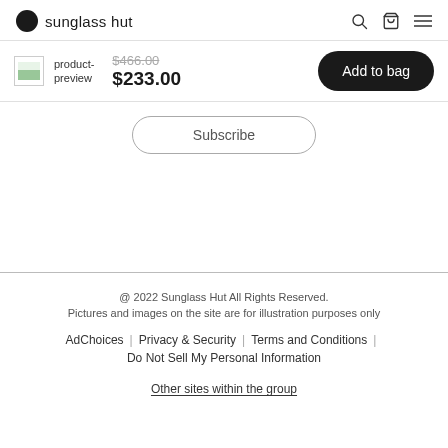sunglass hut
product-preview $466.00 $233.00 Add to bag
Subscribe
@ 2022 Sunglass Hut All Rights Reserved.
Pictures and images on the site are for illustration purposes only
AdChoices | Privacy & Security | Terms and Conditions | Do Not Sell My Personal Information
Other sites within the group